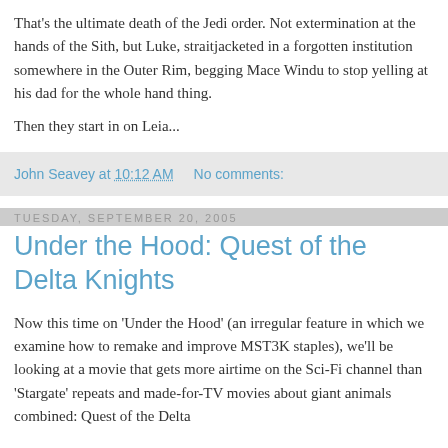That's the ultimate death of the Jedi order. Not extermination at the hands of the Sith, but Luke, straitjacketed in a forgotten institution somewhere in the Outer Rim, begging Mace Windu to stop yelling at his dad for the whole hand thing.
Then they start in on Leia...
John Seavey at 10:12 AM   No comments:
Tuesday, September 20, 2005
Under the Hood: Quest of the Delta Knights
Now this time on 'Under the Hood' (an irregular feature in which we examine how to remake and improve MST3K staples), we'll be looking at a movie that gets more airtime on the Sci-Fi channel than 'Stargate' repeats and made-for-TV movies about giant animals combined: Quest of the Delta